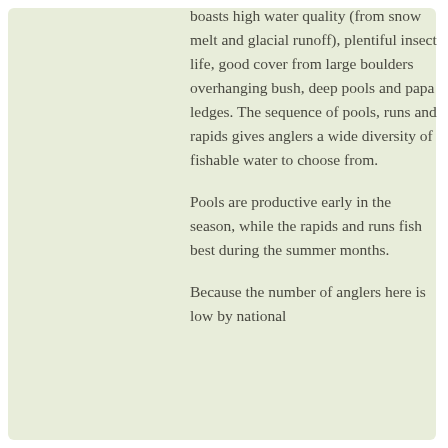boasts high water quality (from snow melt and glacial runoff), plentiful insect life, good cover from large boulders overhanging bush, deep pools and papa ledges. The sequence of pools, runs and rapids gives anglers a wide diversity of fishable water to choose from.
Pools are productive early in the season, while the rapids and runs fish best during the summer months.
Because the number of anglers here is low by national